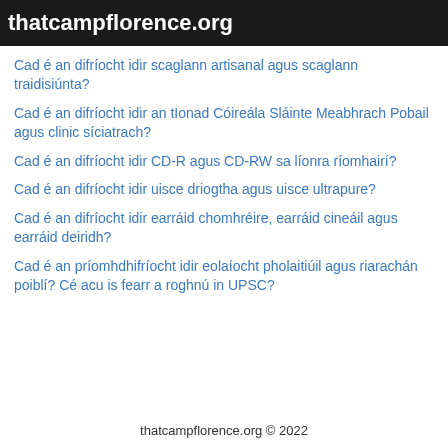thatcampflorence.org
Cad é an difríocht idir scaglann artisanal agus scaglann traidisiúnta?
Cad é an difríocht idir an tIonad Cóireála Sláinte Meabhrach Pobail agus clinic síciatrach?
Cad é an difríocht idir CD-R agus CD-RW sa líonra ríomhairí?
Cad é an difríocht idir uisce driogtha agus uisce ultrapure?
Cad é an difríocht idir earráid chomhréire, earráid cineáil agus earráid deiridh?
Cad é an príomhdhifríocht idir eolaíocht pholaitiúil agus riarachán poiblí? Cé acu is fearr a roghnú in UPSC?
thatcampflorence.org © 2022